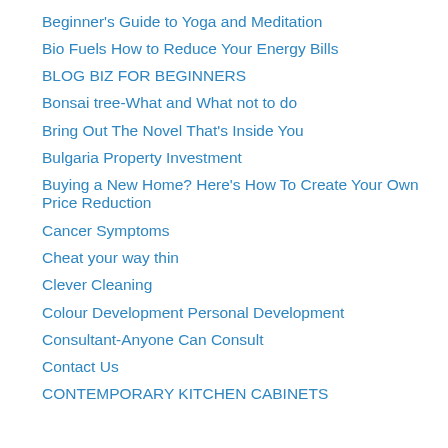Beginner's Guide to Yoga and Meditation
Bio Fuels How to Reduce Your Energy Bills
BLOG BIZ FOR BEGINNERS
Bonsai tree-What and What not to do
Bring Out The Novel That's Inside You
Bulgaria Property Investment
Buying a New Home? Here's How To Create Your Own Price Reduction
Cancer Symptoms
Cheat your way thin
Clever Cleaning
Colour Development Personal Development
Consultant-Anyone Can Consult
Contact Us
CONTEMPORARY KITCHEN CABINETS